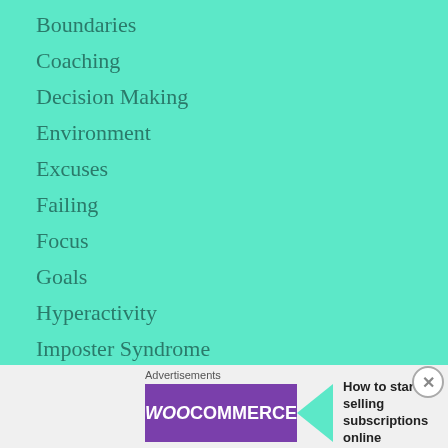Boundaries
Coaching
Decision Making
Environment
Excuses
Failing
Focus
Goals
Hyperactivity
Imposter Syndrome
Impulsiveness
Motivation
Advertisements
How to start selling subscriptions online